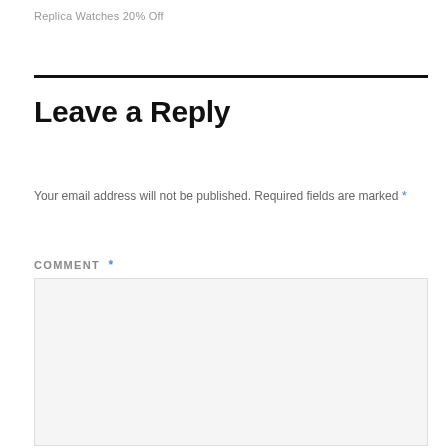Replica Watches 20% Off
Leave a Reply
Your email address will not be published. Required fields are marked *
COMMENT *
[Figure (other): Empty comment text area input box with light gray background and thin border]